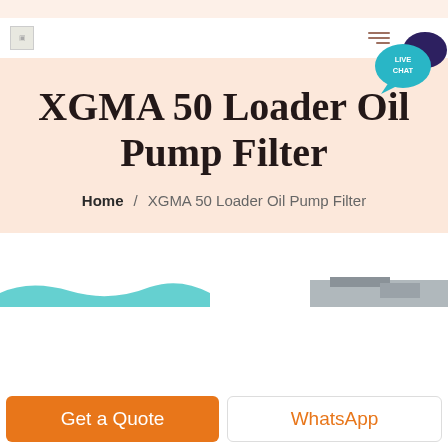[Figure (logo): Small logo image placeholder in top-left header area]
[Figure (illustration): Live chat speech bubble icon with teal background and dark chat icon, top-right corner, with text LIVE CHAT]
XGMA 50 Loader Oil Pump Filter
Home / XGMA 50 Loader Oil Pump Filter
[Figure (illustration): Partial product/machinery image visible at bottom of page above buttons, teal wave/water and grey equipment visible]
Get a Quote
WhatsApp